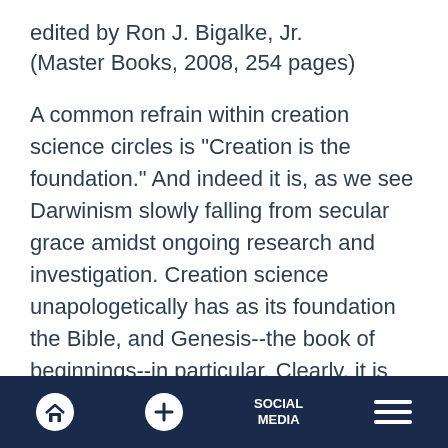edited by Ron J. Bigalke, Jr. (Master Books, 2008, 254 pages)
A common refrain within creation science circles is "Creation is the foundation." And indeed it is, as we see Darwinism slowly falling from secular grace amidst ongoing research and investigation. Creation science unapologetically has as its foundation the Bible, and Genesis--the book of beginnings--in particular. Clearly, it is no wonder that of the 66 books of the Bible, Genesis is most often maligned and
SOCIAL MEDIA